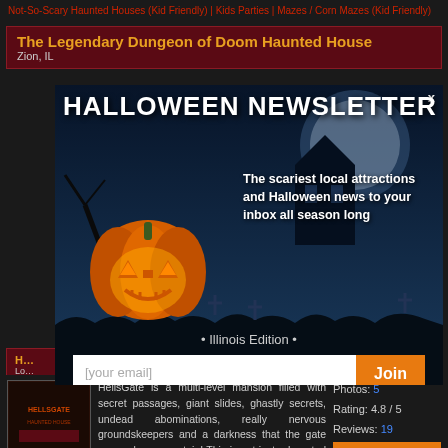Not-So-Scary Haunted Houses (Kid Friendly) | Kids Parties | Mazes / Corn Mazes (Kid Friendly)
The Legendary Dungeon of Doom Haunted House
Zion, IL
[Figure (infographic): Halloween Newsletter modal overlay with pumpkin illustration, dark blue background with cemetery scene, text 'HALLOWEEN NEWSLETTER', 'The scariest local attractions and Halloween news to your inbox all season long', '• Illinois Edition •', email input field with Join button]
HellsGate is a multi-level mansion filled with secret passages, giant slides, ghastly secrets, undead abominations, really nervous groundskeepers and a darkness that the gate can no longer contain! This is not just a haunted house, it's an
Photos: 5
Rating: 4.8 / 5
Reviews: 19
Visit Website